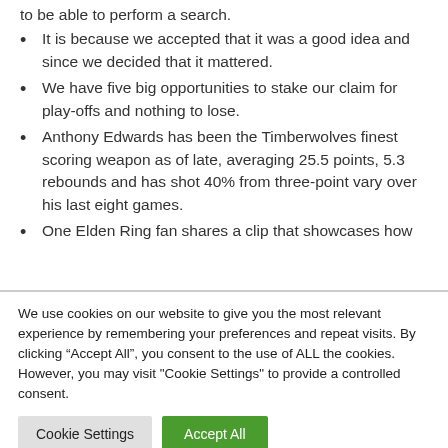to be able to perform a search.
It is because we accepted that it was a good idea and since we decided that it mattered.
We have five big opportunities to stake our claim for play-offs and nothing to lose.
Anthony Edwards has been the Timberwolves finest scoring weapon as of late, averaging 25.5 points, 5.3 rebounds and has shot 40% from three-point vary over his last eight games.
One Elden Ring fan shares a clip that showcases how
We use cookies on our website to give you the most relevant experience by remembering your preferences and repeat visits. By clicking “Accept All”, you consent to the use of ALL the cookies. However, you may visit "Cookie Settings" to provide a controlled consent.